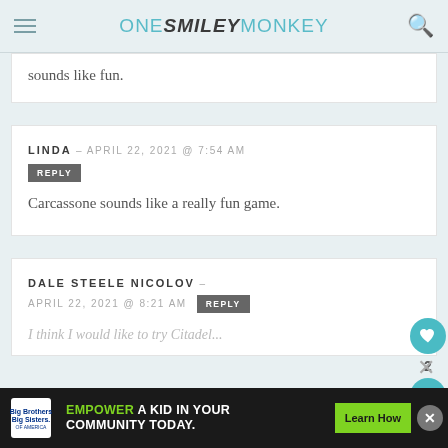ONE SMILEY MONKEY
sounds like fun.
LINDA – APRIL 22, 2021 @ 7:54 AM
REPLY
Carcassone sounds like a really fun game.
DALE STEELE NICOLOV – APRIL 22, 2021 @ 8:21 AM
REPLY
EMPOWER A KID IN YOUR COMMUNITY TODAY. Learn How